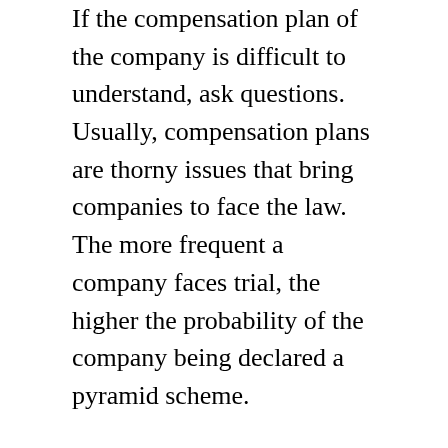If the compensation plan of the company is difficult to understand, ask questions. Usually, compensation plans are thorny issues that bring companies to face the law. The more frequent a company faces trial, the higher the probability of the company being declared a pyramid scheme.
Go with Your Guts
Always go with your gut feeling. If it does not feel right to you, do not join the company. Many businesses have collapse because entrepreneurs have refused to listen to their gut feelings. Other entrepreneurs have flowered because even though everything